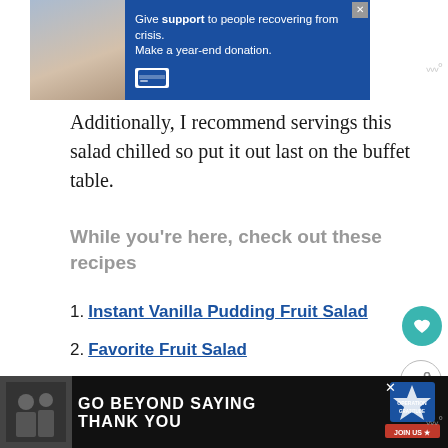[Figure (screenshot): Advertisement banner: blue background, image of two people holding hands on left, text 'Give support to people recovering from crisis. Make a year-end donation.' with a card icon, X close button top right.]
Additionally, I recommend servings this salad chilled so put it out last on the buffet table.
While you're here, check out these recipes
1. Instant Vanilla Pudding Fruit Salad
2. Favorite Fruit Salad
[Figure (screenshot): Bottom advertisement banner: dark background, image of soldiers on left, text 'GO BEYOND SAYING THANK YOU' with Operation Gratitude logo and 'JOIN US' button, X close button.]